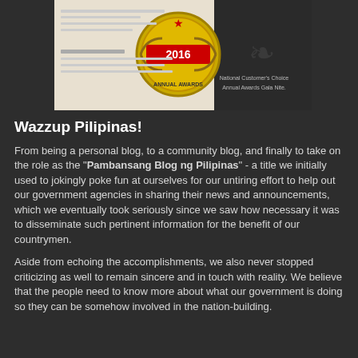[Figure (photo): Award certificate and gold medal for 2016 National Customer's Choice Annual Awards Gala Nite]
Wazzup Pilipinas!
From being a personal blog, to a community blog, and finally to take on the role as the "Pambansang Blog ng Pilipinas" - a title we initially used to jokingly poke fun at ourselves for our untiring effort to help out our government agencies in sharing their news and announcements, which we eventually took seriously since we saw how necessary it was to disseminate such pertinent information for the benefit of our countrymen.
Aside from echoing the accomplishments, we also never stopped criticizing as well to remain sincere and in touch with reality. We believe that the people need to know more about what our government is doing so they can be somehow involved in the nation-building.